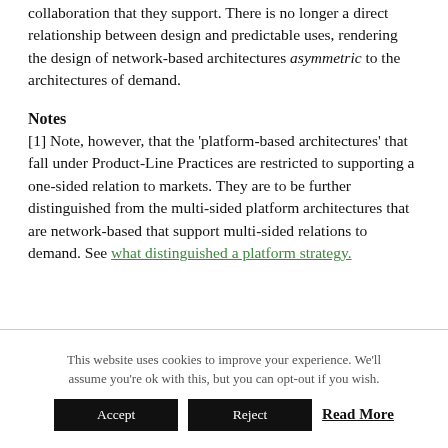collaboration that they support. There is no longer a direct relationship between design and predictable uses, rendering the design of network-based architectures asymmetric to the architectures of demand.
Notes
[1] Note, however, that the 'platform-based architectures' that fall under Product-Line Practices are restricted to supporting a one-sided relation to markets. They are to be further distinguished from the multi-sided platform architectures that are network-based that support multi-sided relations to demand. See what distinguished a platform strategy.
This website uses cookies to improve your experience. We'll assume you're ok with this, but you can opt-out if you wish. Accept Reject Read More